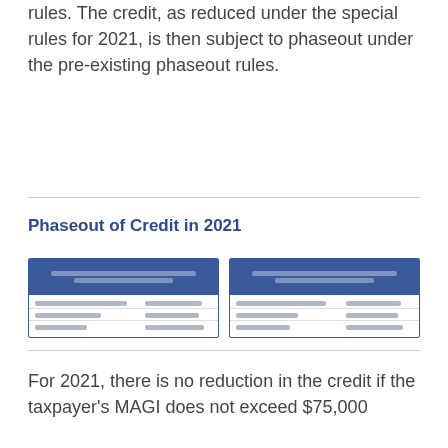rules. The credit, as reduced under the special rules for 2021, is then subject to phaseout under the pre-existing phaseout rules.
Phaseout of Credit in 2021
[Figure (table-as-image): Two side-by-side tables with blue headers showing phaseout of credit data, content is blurred/low resolution]
For 2021, there is no reduction in the credit if the taxpayer's MAGI does not exceed $75,000